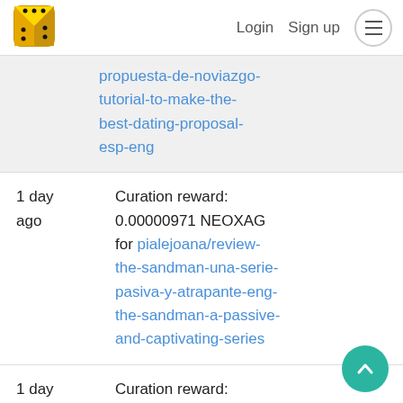Login  Sign up  ≡
propuesta-de-noviazgo-tutorial-to-make-the-best-dating-proposal-esp-eng
1 day ago  Curation reward: 0.00000971 NEOXAG for pialejoana/review-the-sandman-una-serie-pasiva-y-atrapante-eng-the-sandman-a-passive-and-captivating-series
1 day ago  Curation reward: 0.00000383 NEOXAG for codingdefined/does-